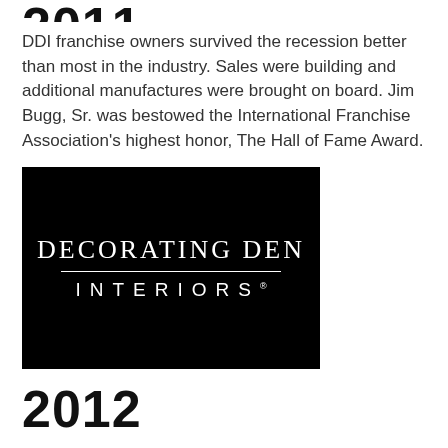2011
DDI franchise owners survived the recession better than most in the industry. Sales were building and additional manufactures were brought on board. Jim Bugg, Sr. was bestowed the International Franchise Association's highest honor, The Hall of Fame Award.
[Figure (logo): Decorating Den Interiors logo — white text on black background. Top line in serif font: 'DECORATING DEN', a thin white horizontal rule, then 'INTERIORS' in spaced sans-serif with a service mark symbol.]
2012
A major brand makeover for DDI was in order including the current logo and new website. National ad campaigns were